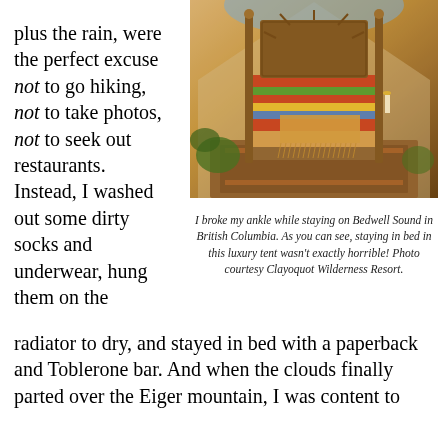plus the rain, were the perfect excuse not to go hiking, not to take photos, not to seek out restaurants. Instead, I washed out some dirty socks and underwear, hung them on the
[Figure (photo): Interior of a luxury tent showing a wooden bed with ornate headboard, colorful striped bedding, fringed throw blanket, rugs, candles, and potted plants, photographed from above at an angle. Warm amber lighting.]
I broke my ankle while staying on Bedwell Sound in British Columbia. As you can see, staying in bed in this luxury tent wasn't exactly horrible! Photo courtesy Clayoquot Wilderness Resort.
radiator to dry, and stayed in bed with a paperback and Toblerone bar. And when the clouds finally parted over the Eiger mountain, I was content to